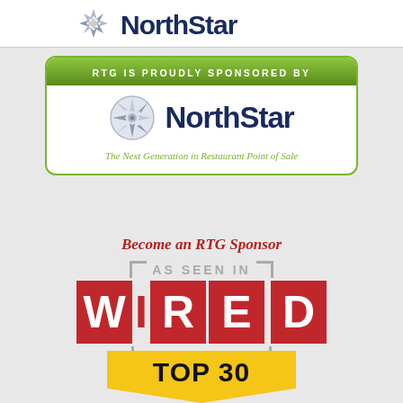[Figure (logo): Partial NorthStar logo at top of page, white background strip]
[Figure (logo): NorthStar sponsor box with compass rose logo, green banner reading 'RTG IS PROUDLY SPONSORED BY', NorthStar name in dark blue, tagline 'The Next Generation in Restaurant Point of Sale']
Become an RTG Sponsor
[Figure (infographic): AS SEEN IN WIRED MAGAZINE badge with bracket corners, WIRED letters in red boxes, gray text for AS SEEN IN and MAGAZINE]
[Figure (infographic): TOP 30 yellow banner/pennant at bottom of page]